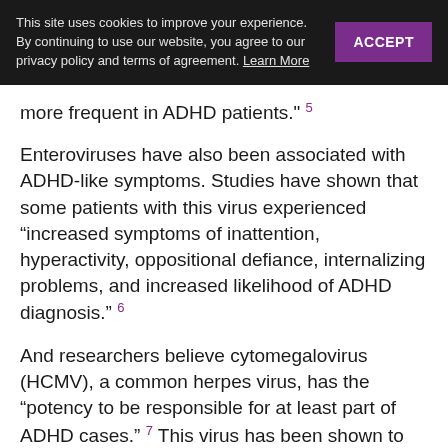This site uses cookies to improve your experience. By continuing to use our website, you agree to our privacy policy and terms of agreement. Learn More [ACCEPT]
more frequent in ADHD patients." 5
Enteroviruses have also been associated with ADHD-like symptoms. Studies have shown that some patients with this virus experienced “increased symptoms of inattention, hyperactivity, oppositional defiance, internalizing problems, and increased likelihood of ADHD diagnosis.” 6
And researchers believe cytomegalovirus (HCMV), a common herpes virus, has the “potency to be responsible for at least part of ADHD cases.” 7 This virus has been shown to be associated with schizophrenia, bipolar disorder and cognitive deficits in certain populations. 8